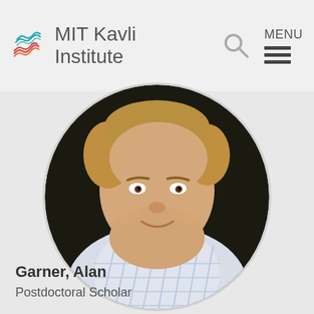MIT Kavli Institute
[Figure (photo): Circular portrait photo of Alan Garner, a young man with light brown hair wearing a blue and white plaid shirt, against a dark background]
Garner, Alan
Postdoctoral Scholar